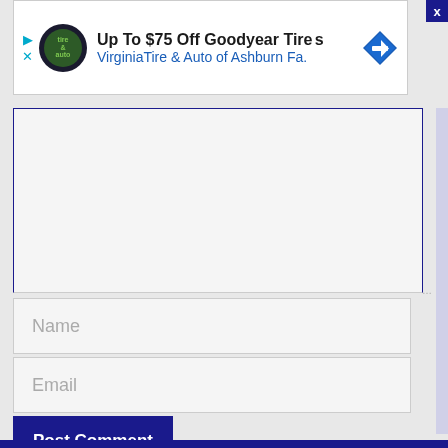[Figure (screenshot): Advertisement banner for Virginia Tire & Auto of Ashburn Fa. offering Up To $75 Off Goodyear Tires, with logo, play and close icons, and a blue directional arrow sign.]
[Figure (screenshot): Web comment form with a large textarea, Name input field, Email input field, and a dark blue 'Post Comment' button.]